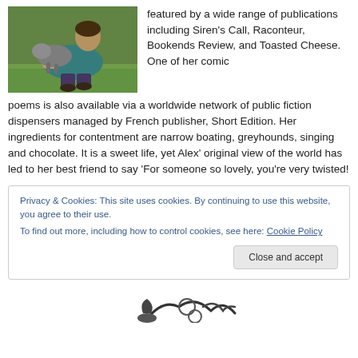[Figure (photo): Person crouching on grass interacting with a grey dog/greyhound]
featured by a wide range of publications including Siren's Call, Raconteur, Bookends Review, and Toasted Cheese. One of her comic poems is also available via a worldwide network of public fiction dispensers managed by French publisher, Short Edition. Her ingredients for contentment are narrow boating, greyhounds, singing and chocolate. It is a sweet life, yet Alex' original view of the world has led to her best friend to say 'For someone so lovely, you're very twisted!
Privacy & Cookies: This site uses cookies. By continuing to use this website, you agree to their use.
To find out more, including how to control cookies, see here: Cookie Policy
[Figure (illustration): Partial illustration of a decorative dog/greyhound figure at the bottom of the page]